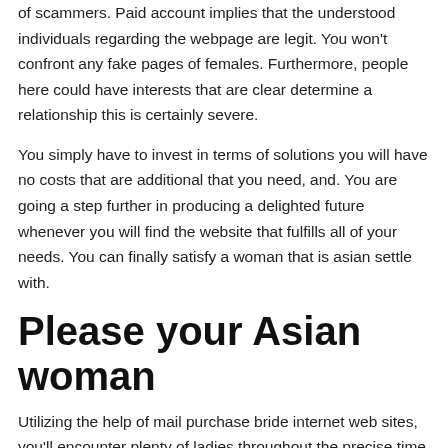of scammers. Paid account implies that the understood individuals regarding the webpage are legit. You won't confront any fake pages of females. Furthermore, people here could have interests that are clear determine a relationship this is certainly severe.
You simply have to invest in terms of solutions you will have no costs that are additional that you need, and. You are going a step further in producing a delighted future whenever you will find the website that fulfills all of your needs. You can finally satisfy a woman that is asian settle with.
Please your Asian woman
Utilizing the help of mail purchase bride internet web sites, you'll encounter plenty of ladies throughout the precise time that is